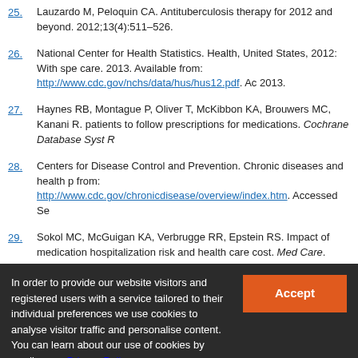25. Lauzardo M, Peloquin CA. Antituberculosis therapy for 2012 and beyond. 2012;13(4):511–526.
26. National Center for Health Statistics. Health, United States, 2012: With special feature on emergency care. 2013. Available from: http://www.cdc.gov/nchs/data/hus/hus12.pdf. Accessed 2013.
27. Haynes RB, Montague P, Oliver T, McKibbon KA, Brouwers MC, Kanani R. Interventions for helping patients to follow prescriptions for medications. Cochrane Database Syst R
28. Centers for Disease Control and Prevention. Chronic diseases and health promotion. Available from: http://www.cdc.gov/chronicdisease/overview/index.htm. Accessed Se
29. Sokol MC, McGuigan KA, Verbrugge RR, Epstein RS. Impact of medication adherence on hospitalization risk and health care cost. Med Care. 2005;43(6):521–530.
In order to provide our website visitors and registered users with a service tailored to their individual preferences we use cookies to analyse visitor traffic and personalise content. You can learn about our use of cookies by reading our Privacy Policy. We also retain data in relation to our visitors and registered users for internal purposes and for sharing information with our business partners. You can learn about what data of yours we retain, how it is processed, who it is shared with and your right to have your data deleted by reading our Privacy Policy. If you agree to our use of cookies and the contents of our Privacy Policy please click 'accept'.